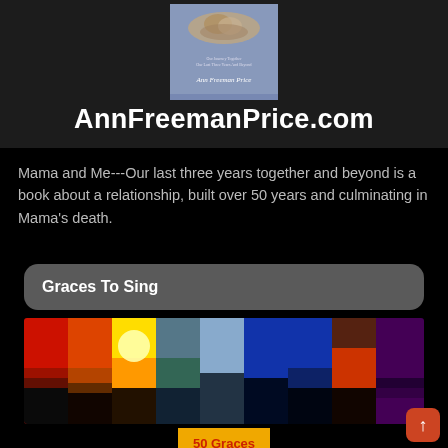[Figure (photo): Book cover for Ann Freeman Price on lavender background with animal image, showing subtitle text and author name. Website URL AnnFreemanPrice.com displayed below.]
Mama and Me---Our last three years together and beyond is a book about a relationship, built over 50 years and culminating in Mama's death.
Graces To Sing
[Figure (photo): Horizontal strip of 9 landscape/sky photographs showing various sunsets and skylines in vibrant colors: red, orange, yellow, teal, blue sky, dark blue, deep blue, fiery red, and purple.]
[Figure (photo): Book cover for '50 Graces to Sing' on golden/orange background with red text.]